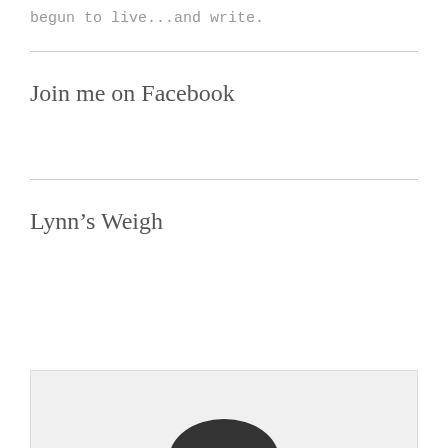begun to live...and write.
Join me on Facebook
Lynn's Weigh
[Figure (illustration): Partial illustration visible at bottom of page, showing a dark curved shape against a light grey background]